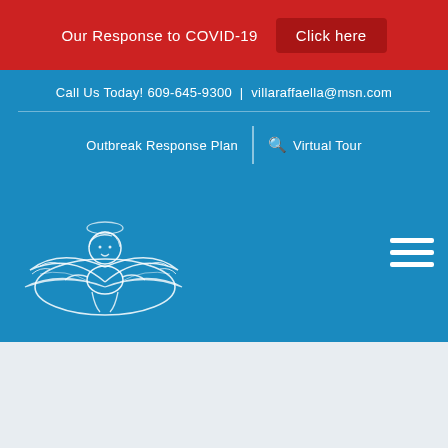Our Response to COVID-19   Click here
Call Us Today! 609-645-9300  |  villaraffaella@msn.com
Outbreak Response Plan   Virtual Tour
[Figure (logo): Villa Raffaella cherub angel logo in white outline on blue background]
Hamburger menu icon